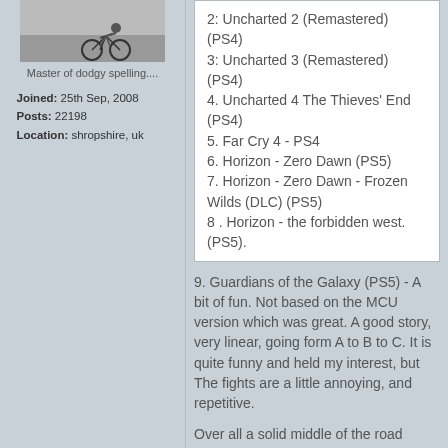[Figure (photo): Avatar photo showing a person on a bicycle in snowy or wintry conditions]
Master of dodgy spelling....
Joined: 25th Sep, 2008
Posts: 22198
Location: shropshire, uk
2: Uncharted 2 (Remastered)(PS4)
3: Uncharted 3 (Remastered)(PS4)
4. Uncharted 4 The Thieves' End (PS4)
5. Far Cry 4 - PS4
6. Horizon - Zero Dawn (PS5)
7. Horizon - Zero Dawn - Frozen Wilds (DLC) (PS5)
8 . Horizon - the forbidden west. (PS5).
9. Guardians of the Galaxy (PS5) - A bit of fun. Not based on the MCU version which was great. A good story, very linear, going form A to B to C. It is quite funny and held my interest, but The fights are a little annoying, and repetitive.
Over all a solid middle of the road game.